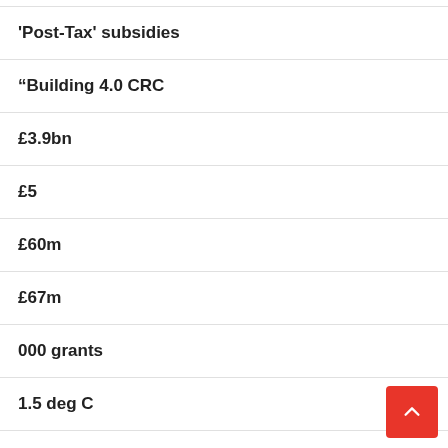'Post-Tax' subsidies
“Building 4.0 CRC
£3.9bn
£5
£60m
£67m
000 grants
1.5 deg C